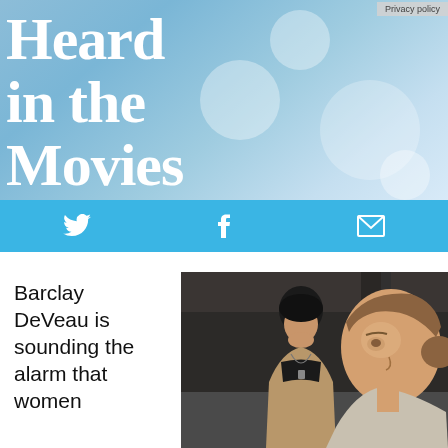Privacy policy
Heard in the Movies
[Figure (other): Social media icon bar with Twitter bird icon, Facebook f icon, and envelope/email icon on a sky-blue background]
Barclay DeVeau is sounding the alarm that women
[Figure (photo): Two people outdoors in an industrial setting. One person in background wearing a black beanie hat and necklace with a tan jacket. One person in foreground with hair pulled back, looking to the side.]